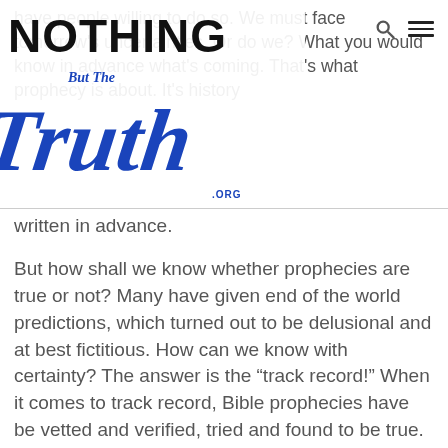[Figure (logo): Nothing But The Truth .ORG logo with blue stylized 'Truth' text overlaid on black 'NOTHING' text]
have people willing to do so. We must face tomorrow's uncertainties. Or do we? What you would know in advance what's coming. That's what prophecy is about. It's history written in advance.
But how shall we know whether prophecies are true or not? Many have given end of the world predictions, which turned out to be delusional and at best fictitious. How can we know with certainty? The answer is the “track record!” When it comes to track record, Bible prophecies have be vetted and verified, tried and found to be true. In this series you will be able to see that for yourself. You will understand the accuracy and in-errancy of Bible prophecy. But more than that, you will know what's coming.
For example, you will get to see present day